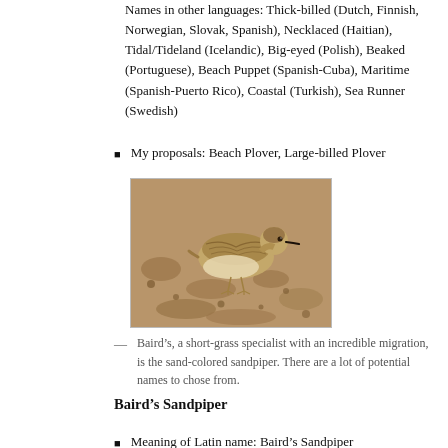Names in other languages: Thick-billed (Dutch, Finnish, Norwegian, Slovak, Spanish), Necklaced (Haitian), Tidal/Tideland (Icelandic), Big-eyed (Polish), Beaked (Portuguese), Beach Puppet (Spanish-Cuba), Maritime (Spanish-Puerto Rico), Coastal (Turkish), Sea Runner (Swedish)
My proposals: Beach Plover, Large-billed Plover
[Figure (photo): A Baird's Sandpiper standing on sandy/pebbly ground, showing sand-colored plumage with dark-streaked upperparts and pale underparts.]
Baird's, a short-grass specialist with an incredible migration, is the sand-colored sandpiper. There are a lot of potential names to chose from.
Baird's Sandpiper
Meaning of Latin name: Baird's Sandpiper